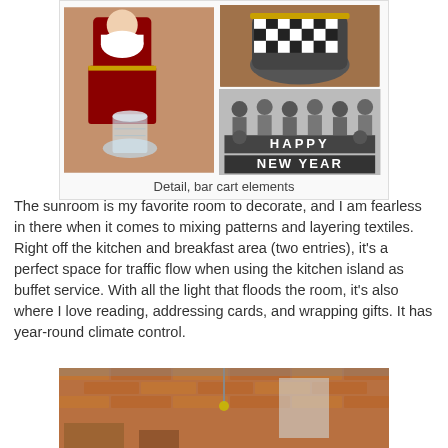[Figure (photo): Collage of three photos: left shows a Santa Claus doll/figurine in red outfit with a crystal glass; top right shows a decorative black and white checkered pot/ornament; bottom right is a vintage black and white photo of a group of people holding letters spelling HAPPY NEW YEAR]
Detail, bar cart elements
The sunroom is my favorite room to decorate, and I am fearless in there when it comes to mixing patterns and layering textiles. Right off the kitchen and breakfast area (two entries), it's a perfect space for traffic flow when using the kitchen island as buffet service. With all the light that floods the room, it's also where I love reading, addressing cards, and wrapping gifts. It has year-round climate control.
[Figure (photo): Interior sunroom photo showing brick walls, high ceiling with structural beams and hanging decoration, windows, and some furniture and decorations]